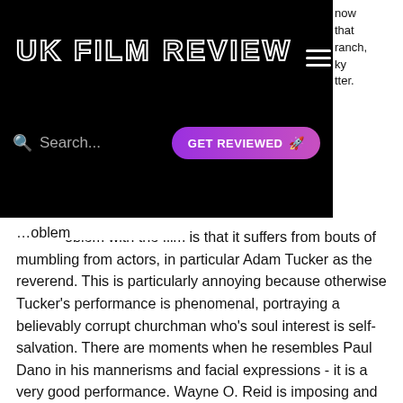UK FILM REVIEW
now that ranch, ky tter.
oblem with the film is that it suffers from bouts of mumbling from actors, in particular Adam Tucker as the reverend. This is particularly annoying because otherwise Tucker's performance is phenomenal, portraying a believably corrupt churchman who's soul interest is self-salvation. There are moments when he resembles Paul Dano in his mannerisms and facial expressions - it is a very good performance. Wayne O. Reid is imposing and charismatic as the retired old magician, working well with Tucker and creating an all round likeable character in just 15 minutes. Katie McKenna has a lot less to do, but when she does do it she is also charming in her own way.